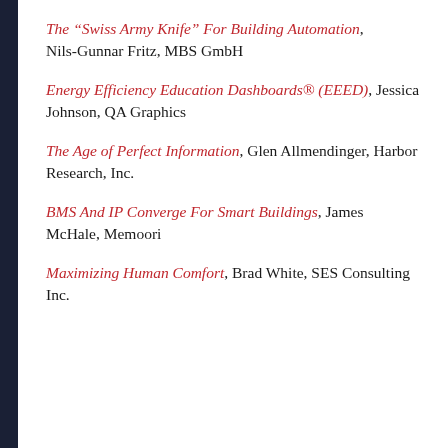The “Swiss Army Knife” For Building Automation, Nils-Gunnar Fritz, MBS GmbH
Energy Efficiency Education Dashboards® (EEED), Jessica Johnson, QA Graphics
The Age of Perfect Information, Glen Allmendinger, Harbor Research, Inc.
BMS And IP Converge For Smart Buildings, James McHale, Memoori
Maximizing Human Comfort, Brad White, SES Consulting Inc.